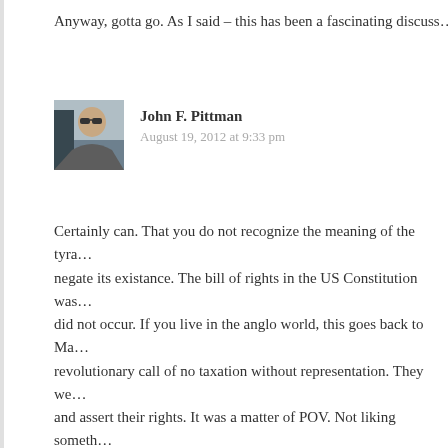Anyway, gotta go. As I said – this has been a fascinating discuss...
[Figure (photo): Profile photo of John F. Pittman, a person wearing sunglasses]
John F. Pittman
August 19, 2012 at 9:33 pm
Certainly can. That you do not recognize the meaning of the tyra... negate its existance. The bill of rights in the US Constitution was... did not occur. If you live in the anglo world, this goes back to Ma... revolutionary call of no taxation without representation. They we... and assert their rights. It was a matter of POV. Not liking someth... does not address what I was taking about and your argument igr... rights. Could you elaborate what you do not understand about rig... majority so I can answer you, because not including rights is arg... argue. Criminals do not respect rights. One of the interesting asp... is the battle that will occur along the lines of takings (stealing), ri... desire of surviving. There have been proposals before, during, a... democracy and capitalism could not address climate change. Th... choice would HAVE to be eliminated.Yet, at present, fracking in...